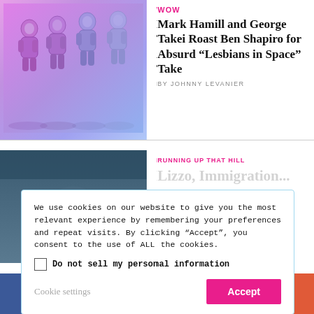[Figure (photo): Four astronaut figures in purple/blue gradient background]
WOW
Mark Hamill and George Takei Roast Ben Shapiro for Absurd “Lesbians in Space” Take
BY JOHNNY LEVANIER
[Figure (photo): Dark blue-grey background, partial article image]
RUNNING UP THAT HILL
Lizzo, Immigration...
We use cookies on our website to give you the most relevant experience by remembering your preferences and repeat visits. By clicking “Accept”, you consent to the use of ALL the cookies.
Do not sell my personal information
Cookie settings
Accept